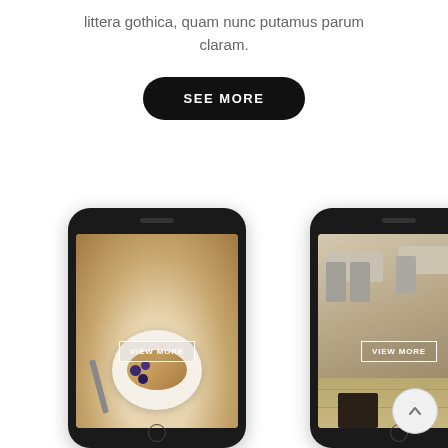littera gothica, quam nunc putamus parum claram.
SEE MORE
[Figure (photo): Two smartphone mockups side by side. Left phone shows a food photo (pancake with blueberries on a plate) with a 'VIEW MORE' button overlay. Right phone shows a cafe interior photo with chairs and tables with a 'VIEW MORE' button overlay. A circular scroll-up arrow button appears in the bottom right area.]